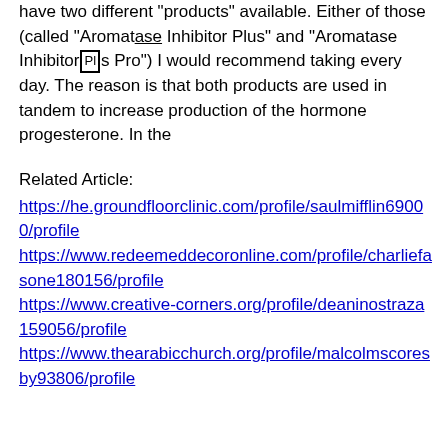have two different "products" available. Either of those (called "Aromatase Inhibitor Plus" and "Aromatase Inhibitor Plus Pro") I would recommend taking every day. The reason is that both products are used in tandem to increase production of the hormone progesterone. In the
Related Article: https://he.groundfloorclinic.com/profile/saulmifflin69000/profile https://www.redeemeddecoronline.com/profile/charliefasone180156/profile https://www.creative-corners.org/profile/deaninostraza159056/profile https://www.thearabicchurch.org/profile/malcolmscoresby93806/profile